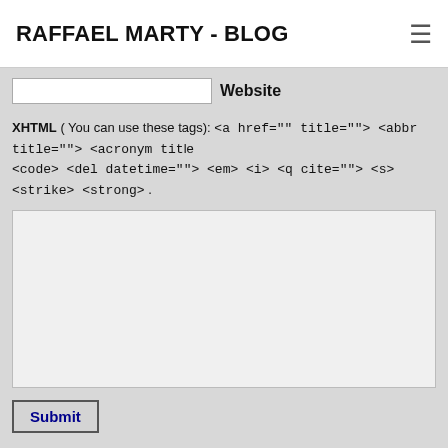RAFFAEL MARTY - BLOG
Website
XHTML ( You can use these tags): <a href="" title=""> <abbr title=""> <acronym title=""> <code> <del datetime=""> <em> <i> <q cite=""> <s> <strike> <strong> .
Submit